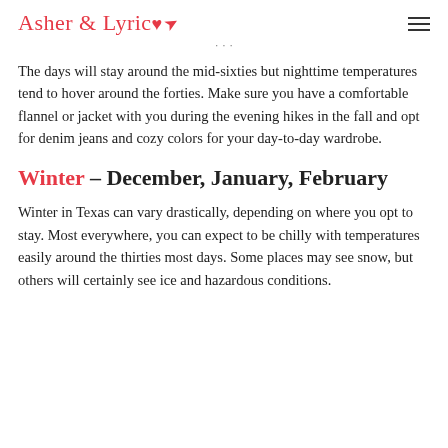Asher & Lyric
The days will stay around the mid-sixties but nighttime temperatures tend to hover around the forties. Make sure you have a comfortable flannel or jacket with you during the evening hikes in the fall and opt for denim jeans and cozy colors for your day-to-day wardrobe.
Winter – December, January, February
Winter in Texas can vary drastically, depending on where you opt to stay. Most everywhere, you can expect to be chilly with temperatures easily around the thirties most days. Some places may see snow, but others will certainly see ice and hazardous conditions.